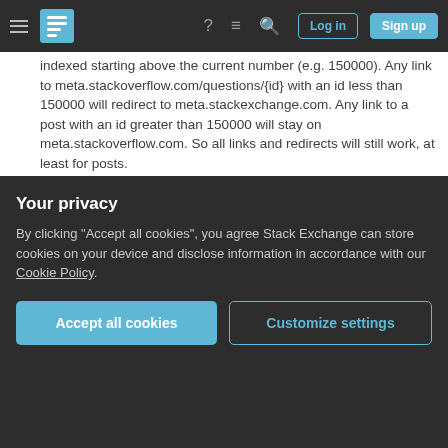Stack Overflow navigation bar with Log in and Sign up buttons
indexed starting above the current number (e.g. 150000). Any link to meta.stackoverflow.com/questions/{id} with an id less than 150000 will redirect to meta.stackexchange.com. Any link to a post with an id greater than 150000 will stay on meta.stackoverflow.com. So all links and redirects will still work, at least for posts. – David Fullerton Feb 29, 2012 at 21:24
2 Great plan @DavidFullerton – The Unhandled Exception Feb 29, 2012 at 21:26
4 There's an easy way to solve the dead link issue: create an empty MSE, migrate posts there from MSO.
Your privacy
By clicking "Accept all cookies", you agree Stack Exchange can store cookies on your device and disclose information in accordance with our Cookie Policy.
Accept all cookies   Customize settings
this can be fixed by only redirecting if the ID is not